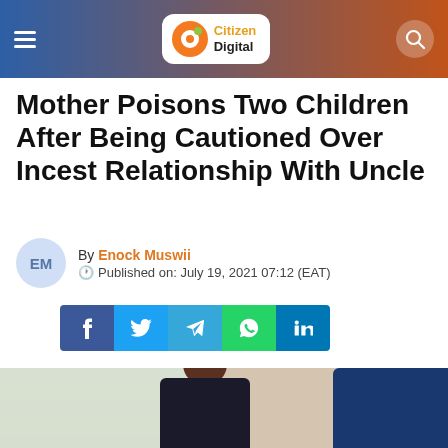Citizen Digital
Mother Poisons Two Children After Being Cautioned Over Incest Relationship With Uncle
By Enock Muswii
Published on: July 19, 2021 07:12 (EAT)
[Figure (other): Social media share buttons: Facebook, Twitter, Telegram, WhatsApp, LinkedIn]
[Figure (photo): Photo of two people in an indoor setting; one wearing a red hat and dark jacket seated, another standing wearing a blue jacket and face mask]